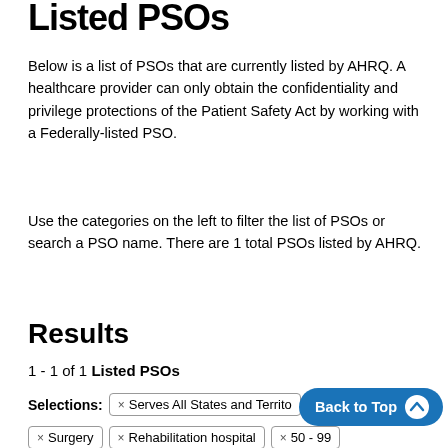Listed PSOs
Below is a list of PSOs that are currently listed by AHRQ. A healthcare provider can only obtain the confidentiality and privilege protections of the Patient Safety Act by working with a Federally-listed PSO.
Use the categories on the left to filter the list of PSOs or search a PSO name. There are 1 total PSOs listed by AHRQ.
Results
1 - 1 of 1 Listed PSOs
Selections: × Serves All States and Territories × Surgery × Rehabilitation hospital × 50 - 99